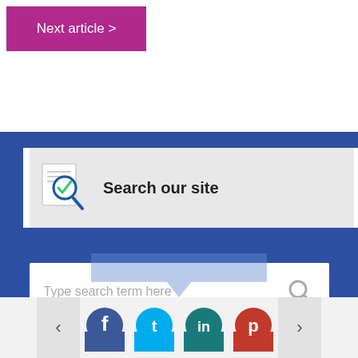Next article >
[Figure (screenshot): Search our site section with search icon, text field showing 'Type search term here', and social media share icons (Facebook, Twitter, LinkedIn, Pinterest) at the bottom on a blue background.]